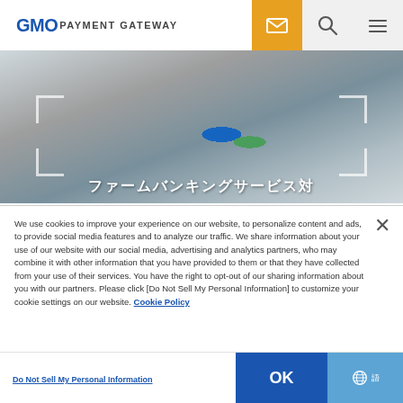GMO PAYMENT GATEWAY
[Figure (photo): Person typing on laptop with chart/graph on screen, hero banner image with Japanese text overlay and bracket corners]
We use cookies to improve your experience on our website, to personalize content and ads, to provide social media features and to analyze our traffic. We share information about your use of our website with our social media, advertising and analytics partners, who may combine it with other information that you have provided to them or that they have collected from your use of their services. You have the right to opt-out of our sharing information about you with our partners. Please click [Do Not Sell My Personal Information] to customize your cookie settings on our website. Cookie Policy
Do Not Sell My Personal Information
OK